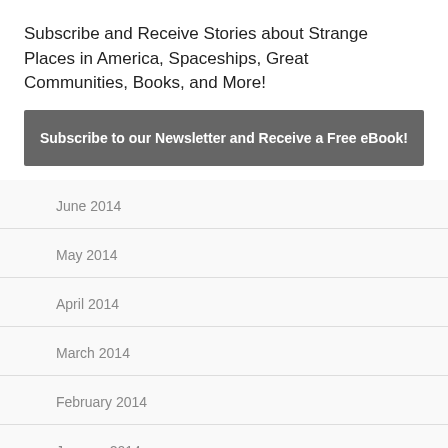×
Subscribe and Receive Stories about Strange Places in America, Spaceships, Great Communities, Books, and More!
Subscribe to our Newsletter and Receive a Free eBook!
June 2014
May 2014
April 2014
March 2014
February 2014
January 2014
November 2013